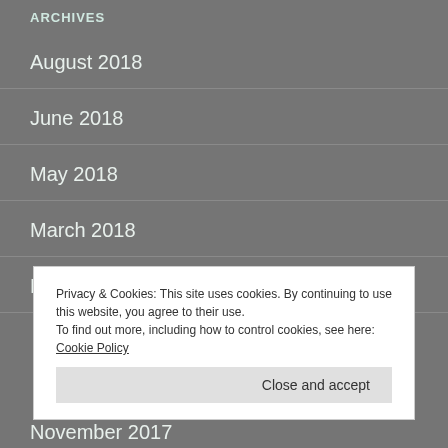ARCHIVES
August 2018
June 2018
May 2018
March 2018
February 2018
Privacy & Cookies: This site uses cookies. By continuing to use this website, you agree to their use.
To find out more, including how to control cookies, see here: Cookie Policy
November 2017